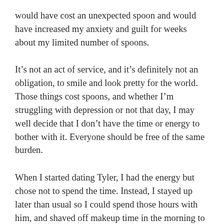would have cost an unexpected spoon and would have increased my anxiety and guilt for weeks about my limited number of spoons.
It's not an act of service, and it's definitely not an obligation, to smile and look pretty for the world. Those things cost spoons, and whether I'm struggling with depression or not that day, I may well decide that I don't have the time or energy to bother with it. Everyone should be free of the same burden.
When I started dating Tyler, I had the energy but chose not to spend the time. Instead, I stayed up later than usual so I could spend those hours with him, and shaved off makeup time in the morning to help me recover some of my sleep. My choice was not an assault on the world. I don't owe the world a painted face or a fake smile or a yellow blouse. (I'd also like to point out that men aren't expected to wear makeup because we haven't been trained to think that